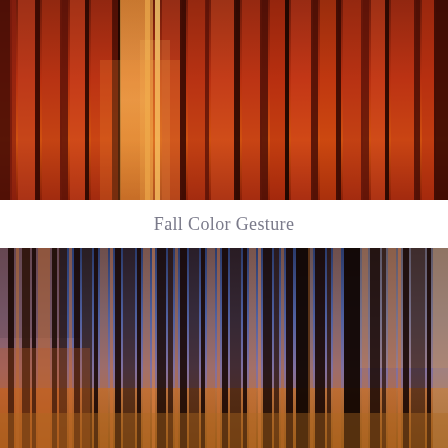[Figure (photo): Abstract motion-blur photograph of autumn trees with intense red, orange, and burnt sienna vertical streaks against a dark background, creating a gestural painterly effect.]
Fall Color Gesture
[Figure (photo): Abstract motion-blur photograph of bare winter/autumn trees with vertical streaks, showing dark brown tree trunks against a blue and orange background with golden lower tones, creating a gestural impressionistic effect.]